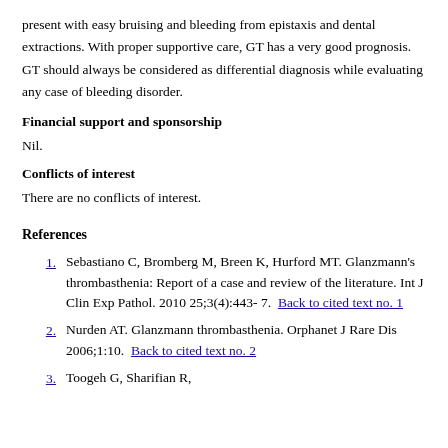present with easy bruising and bleeding from epistaxis and dental extractions. With proper supportive care, GT has a very good prognosis. GT should always be considered as differential diagnosis while evaluating any case of bleeding disorder.
Financial support and sponsorship
Nil.
Conflicts of interest
There are no conflicts of interest.
References
1. Sebastiano C, Bromberg M, Breen K, Hurford MT. Glanzmann's thrombasthenia: Report of a case and review of the literature. Int J Clin Exp Pathol. 2010 25;3(4):443-7. Back to cited text no. 1
2. Nurden AT. Glanzmann thrombasthenia. Orphanet J Rare Dis 2006;1:10. Back to cited text no. 2
3. (partial)